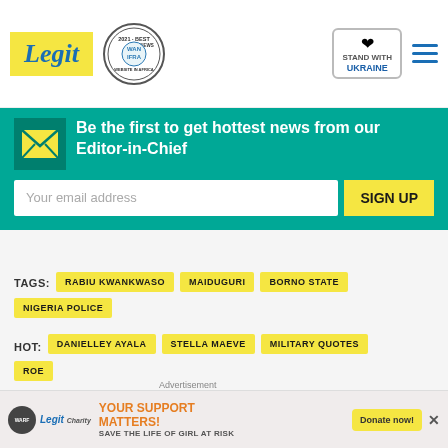Legit — Best News Website in Africa 2021 · WAN IFRA · Stand with Ukraine
Be the first to get hottest news from our Editor-in-Chief
Your email address   SIGN UP
TAGS: RABIU KWANKWASO   MAIDUGURI   BORNO STATE   NIGERIA POLICE
HOT: DANIELLEY AYALA   STELLA MAEVE   MILITARY QUOTES
[Figure (screenshot): Video thumbnail showing two people at a red card with text 'LET LOVE RULE, RIGHT?' and play button overlay]
YOUR SUPPORT MATTERS! SAVE THE LIFE OF GIRL AT RISK — Donate now!